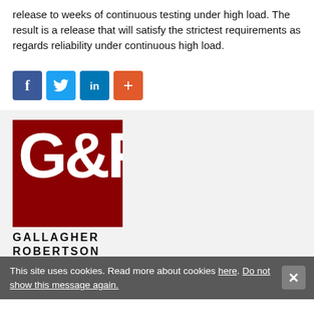release to weeks of continuous testing under high load. The result is a release that will satisfy the strictest requirements as regards reliability under continuous high load.
[Figure (other): Social sharing buttons: Facebook (blue), Twitter (light blue), LinkedIn (dark blue), Plus/More (orange-red)]
[Figure (logo): Gallagher Robertson logo — dark red square with white G&R text, GALLAGHER ROBERTSON in black uppercase below]
Contact us
This site uses cookies. Read more about cookies here. Do not show this message again.
E-mail: gar@gar.no